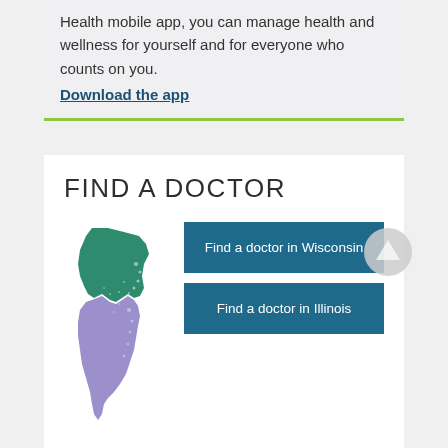Health mobile app, you can manage health and wellness for yourself and for everyone who counts on you.
Download the app
FIND A DOCTOR
[Figure (map): Map showing Wisconsin (green, top) and Illinois (light purple, bottom) states side by side]
Find a doctor in Wisconsin
Find a doctor in Illinois